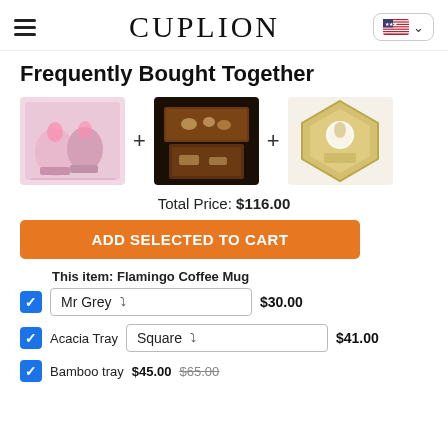CUPLION
Frequently Bought Together
[Figure (photo): Three product photos: flamingo coffee mugs, acacia tray with items, hexagonal bamboo tray with candle]
Total Price: $116.00
ADD SELECTED TO CART
This item: Flamingo Coffee Mug  Mr Grey  $30.00
Acacia Tray  Square  $41.00
Bamboo tray  $45.00  $65.00